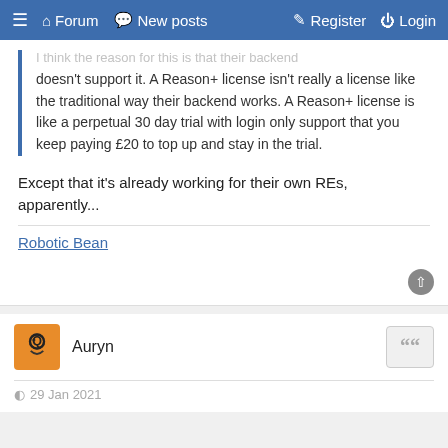Forum | New posts | Register | Login
I think the reason for this is that their backend doesn't support it. A Reason+ license isn't really a license like the traditional way their backend works. A Reason+ license is like a perpetual 30 day trial with login only support that you keep paying £20 to top up and stay in the trial.
Except that it's already working for their own REs, apparently...
Robotic Bean
Auryn
29 Jan 2021